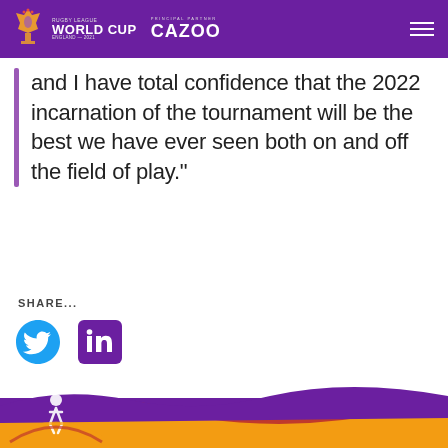Rugby League World Cup England 2021 | Principal Partner CAZOO
and I have total confidence that the 2022 incarnation of the tournament will be the best we have ever seen both on and off the field of play."
SHARE...
[Figure (logo): Twitter and LinkedIn social share icons]
[Figure (illustration): Purple and red/yellow wave footer with accessibility icon]